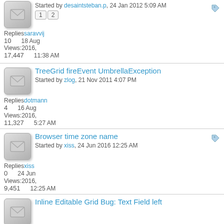Started by desaintsteban.p, 24 Jan 2012 5:09 AM
1 2
Replies saravvij
10   18 Aug
Views: 2016,
17,447 11:38 AM
TreeGrid fireEvent UmbrellaException
Started by zlog, 21 Nov 2011 4:07 PM
Replies dotmann
4   16 Aug
Views: 2016,
11,327 5:27 AM
Browser time zone name
Started by xiss, 24 Jun 2016 12:25 AM
Replies xiss
0   24 Jun
Views: 2016,
9,451  12:25 AM
Inline Editable Grid Bug: Text Field left